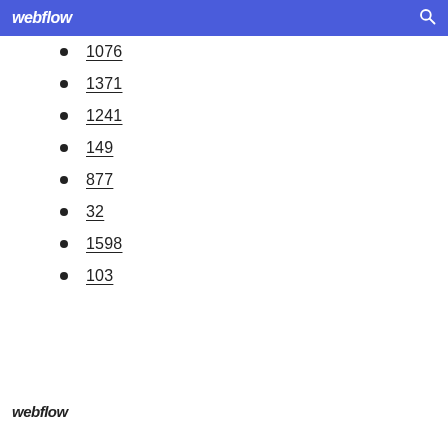webflow
1076
1371
1241
149
877
32
1598
103
webflow